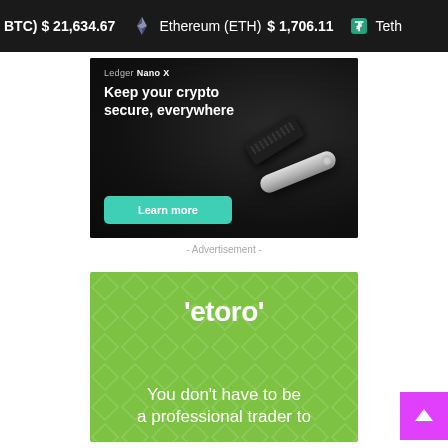BTC) $21,634.67  Ethereum (ETH)  $1,706.11  Teth
[Figure (screenshot): Ledger Nano X advertisement. Dark background showing two Ledger hardware wallet devices (one black, one silver). Text reads 'Ledger Nano X' and 'Keep your crypto secure, everywhere' with a teal 'Learn more' button at the bottom.]
- Advertisement -
[Figure (screenshot): eToro advertisement. Green background with diamond pattern watermark. Shows eToro logo and text 'You don't have to be a professional trader to']